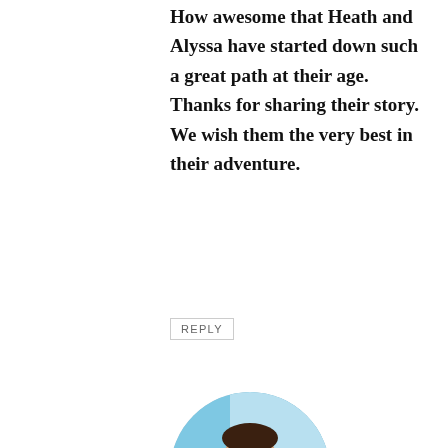How awesome that Heath and Alyssa have started down such a great path at their age. Thanks for sharing their story. We wish them the very best in their adventure.
REPLY
[Figure (photo): Circular avatar photo of a woman wearing sunglasses on a boat, colorful striped shirt, sea and sky in background]
NIKKI WYNN
So glad you like their story as much as we do!
REPLY